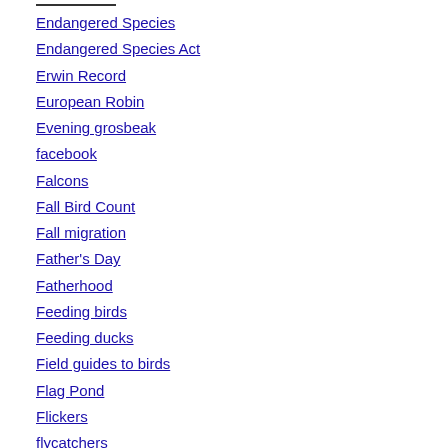Endangered Species
Endangered Species Act
Erwin Record
European Robin
Evening grosbeak
facebook
Falcons
Fall Bird Count
Fall migration
Father's Day
Fatherhood
Feeding birds
Feeding ducks
Field guides to birds
Flag Pond
Flickers
flycatchers
For the Birds
Foothills Birding 2022